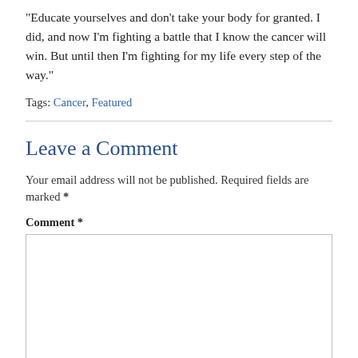“Educate yourselves and don’t take your body for granted. I did, and now I’m fighting a battle that I know the cancer will win. But until then I’m fighting for my life every step of the way.”
Tags: Cancer, Featured
Leave a Comment
Your email address will not be published. Required fields are marked *
Comment *
[Figure (screenshot): Large empty comment text area input field with resize handle]
Name *